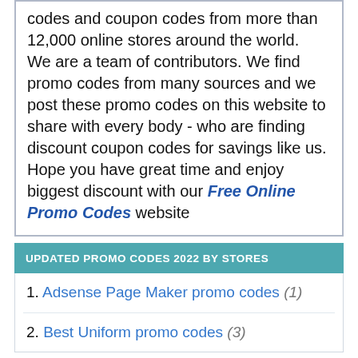codes and coupon codes from more than 12,000 online stores around the world.
We are a team of contributors. We find promo codes from many sources and we post these promo codes on this website to share with every body - who are finding discount coupon codes for savings like us.
Hope you have great time and enjoy biggest discount with our Free Online Promo Codes website
UPDATED PROMO CODES 2022 BY STORES
1. Adsense Page Maker promo codes (1)
2. Best Uniform promo codes (3)